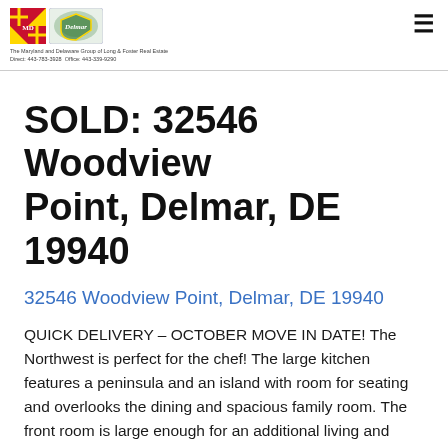The Maryland and Delaware Group of Long & Foster Real Estate
Direct: 443-783-3928  Office: 443-339-9290
SOLD: 32546 Woodview Point, Delmar, DE 19940
32546 Woodview Point, Delmar, DE 19940
QUICK DELIVERY – OCTOBER MOVE IN DATE! The Northwest is perfect for the chef! The large kitchen features a peninsula and an island with room for seating and overlooks the dining and spacious family room. The front room is large enough for an additional living and dining, and a perfect space to greet guests. Upstairs are three large bedrooms ~ two have walk-in closets ~ a full bathroom with a double vanity and large loft. The owner~s